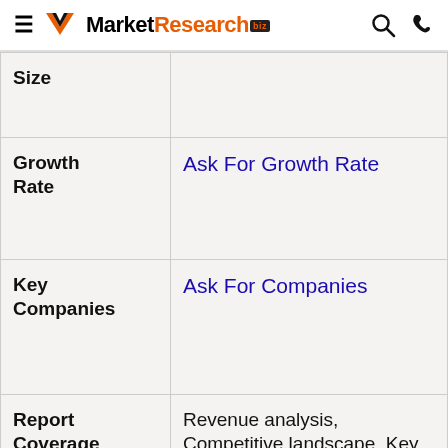MarketResearch.biz
| Size |  |
| Growth Rate | Ask For Growth Rate |
| Key Companies | Ask For Companies |
| Report Coverage | Revenue analysis, Competitive landscape, Key company analysis, Market Trends, Key segments, Distribution Channel, Market Dynamics, COVID-19 Impact Analysis and |